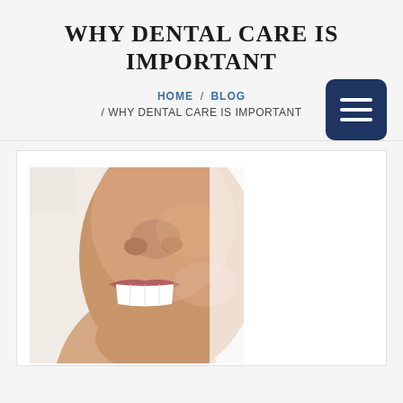WHY DENTAL CARE IS IMPORTANT
HOME / BLOG / WHY DENTAL CARE IS IMPORTANT
[Figure (photo): Close-up photo of a person smiling showing white teeth, lower half of face with nose and lips visible, against a white background]